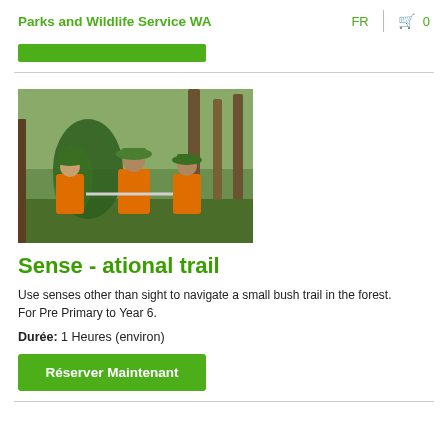Parks and Wildlife Service WA   FR  0
[Figure (other): Green progress/search bar element]
[Figure (photo): Three children wearing orange vests and wide-brimmed hats exploring a bush trail in a forest, one holding a rope/stick.]
Sense - ational trail
Use senses other than sight to navigate a small bush trail in the forest. For Pre Primary to Year 6.
Durée: 1 Heures (environ)
Réserver Maintenant